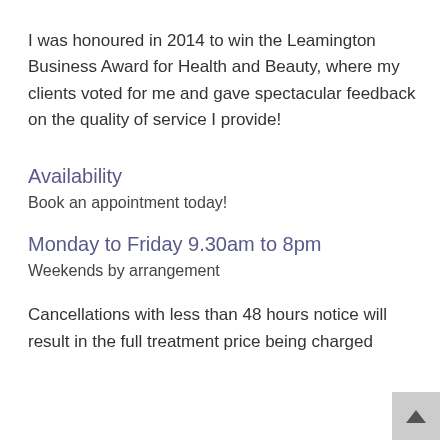I was honoured in 2014 to win the Leamington Business Award for Health and Beauty, where my clients voted for me and gave spectacular feedback on the quality of service I provide!
Availability
Book an appointment today!
Monday to Friday 9.30am to 8pm
Weekends by arrangement
Cancellations with less than 48 hours notice will result in the full treatment price being charged